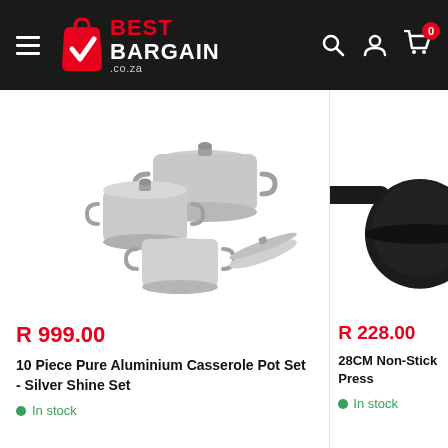[Figure (logo): Best Bargain .co.za logo with red bag icon and navigation icons (search, account, cart with 0 badge) on dark header]
[Figure (photo): 10 Piece Pure Aluminium Casserole Pot Set - Silver Shine Set, showing multiple stainless steel pots with lids arranged together]
R 999.00
10 Piece Pure Aluminium Casserole Pot Set - Silver Shine Set
In stock
[Figure (photo): 28CM Non-Stick Press frying pan with black handle, partially visible]
R 228.00
28CM Non-Stick Press
In stock